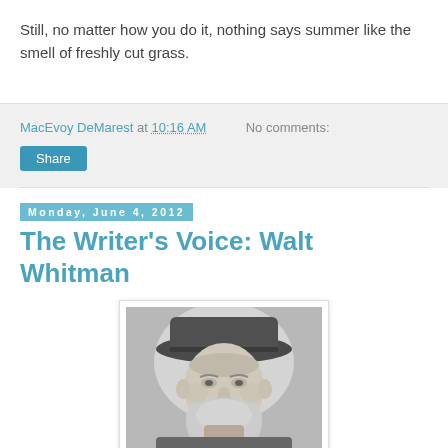Still, no matter how you do it, nothing says summer like the smell of freshly cut grass.
MacEvoy DeMarest at 10:16 AM   No comments:
Share
Monday, June 4, 2012
The Writer's Voice: Walt Whitman
[Figure (photo): Black and white portrait photograph of Walt Whitman wearing a wide-brimmed hat, with a full white beard, elderly appearance.]